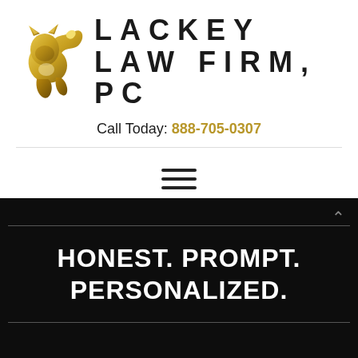[Figure (logo): Lackey Law Firm PC logo with a golden fox illustration and large uppercase firm name text]
Call Today: 888-705-0307
[Figure (other): Hamburger menu icon (three horizontal lines)]
HONEST. PROMPT. PERSONALIZED.